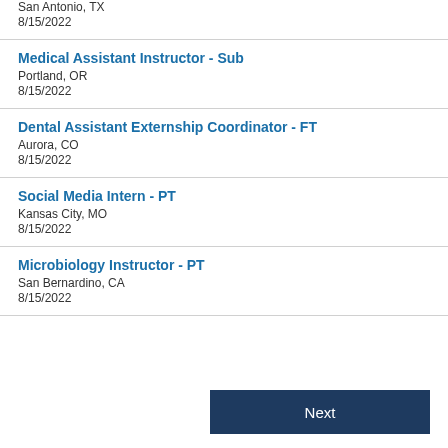San Antonio, TX
8/15/2022
Medical Assistant Instructor - Sub
Portland, OR
8/15/2022
Dental Assistant Externship Coordinator - FT
Aurora, CO
8/15/2022
Social Media Intern - PT
Kansas City, MO
8/15/2022
Microbiology Instructor - PT
San Bernardino, CA
8/15/2022
Next